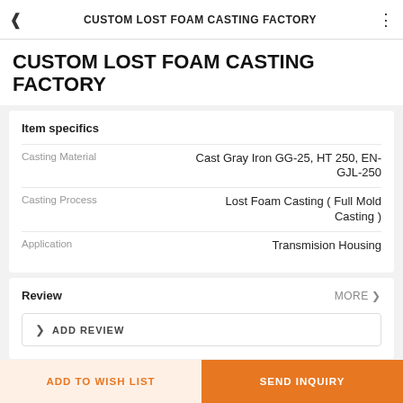CUSTOM LOST FOAM CASTING FACTORY
CUSTOM LOST FOAM CASTING FACTORY
|  |  |
| --- | --- |
| Casting Material | Cast Gray Iron GG-25, HT250, EN-GJL-250 |
| Casting Process | Lost Foam Casting ( Full Mold Casting ) |
| Application | Transmision Housing |
Review
MORE ❯
❯ ADD REVIEW
ADD TO WISH LIST
SEND INQUIRY